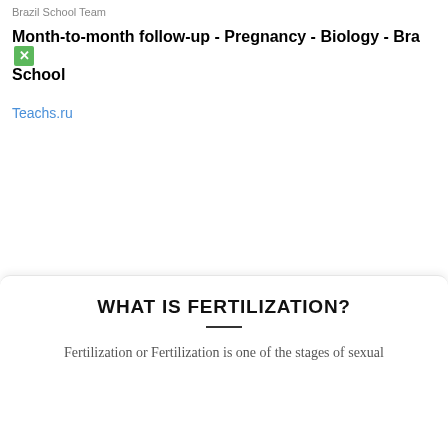Brazil School Team
Month-to-month follow-up - Pregnancy - Biology - Brazil School
Teachs.ru
WHAT IS FERTILIZATION?
Fertilization or Fertilization is one of the stages of sexual reproduction in which the so-called